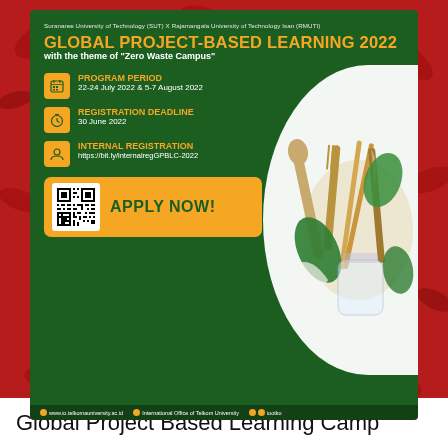[Figure (infographic): Global Project-Based Learning 2022 event poster with green background. Shows program details: Program Period 22-24 July 2022 & 5-7 August 2022, Registration Deadline 30 June 2022, Internal Registration https://bit.ly/internalregGPBLC-2022. Apply Now button with QR code. Photo of wooden/bamboo utensils on right side. Footer with website and social media info.]
Global Project Based Learning Camp 2022